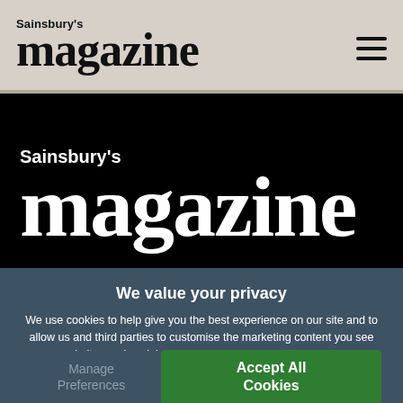Sainsbury's magazine
[Figure (logo): Sainsbury's magazine logo on black background hero section]
In this issue   sainsburys.co.uk
We value your privacy
We use cookies to help give you the best experience on our site and to allow us and third parties to customise the marketing content you see across websites and social media. For more information see our cookie policy.
Manage Preferences
Accept All Cookies